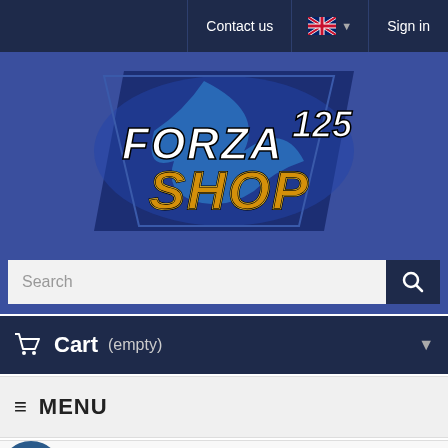Contact us | [UK flag] | Sign in
[Figure (logo): Forza 125 Shop logo on dark blue triangular background with blue flame design. Text reads FORZA 125 SHOP in white and gold lettering.]
Search
Cart (empty)
≡ MENU
Forza 125 V3 (from summer 2018 to today)